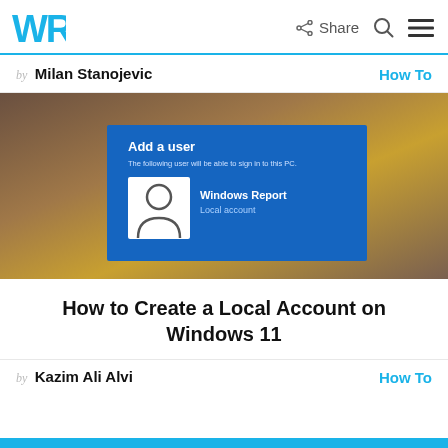WR Share Search Menu
by Milan Stanojevic   How To
[Figure (screenshot): Windows 11 Add a user screen showing a blue dialog with 'Add a user' heading, 'The following user will be able to sign in to this PC.' subtext, a user avatar icon, and 'Windows Report Local account' entry]
How to Create a Local Account on Windows 11
by Kazim Ali Alvi   How To